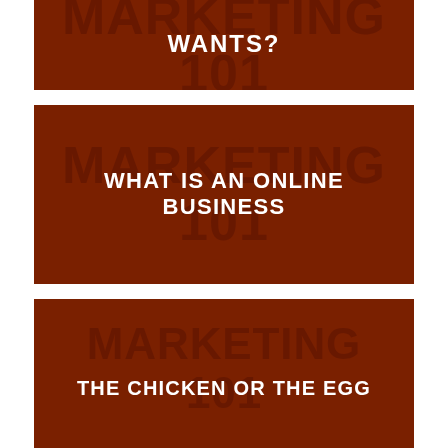[Figure (infographic): Dark brown/red card with watermark text 'Marketing 101' and white uppercase bold text 'WANTS?']
[Figure (infographic): Dark brown/red card with watermark text 'Marketing 101' and white uppercase bold text 'WHAT IS AN ONLINE BUSINESS']
[Figure (infographic): Dark brown/red card with watermark text 'Marketing 101' and white uppercase bold text 'THE CHICKEN OR THE EGG']